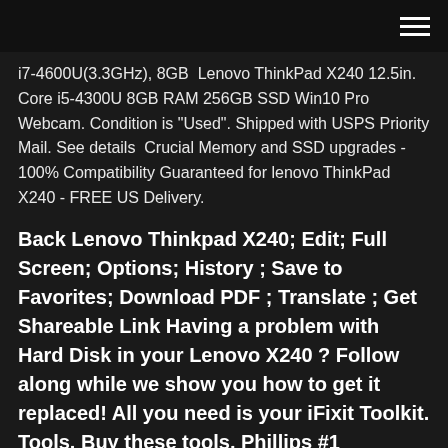[hamburger menu icon]
i7-4600U(3.3GHz), 8GB  Lenovo ThinkPad X240 12.5in. Core i5-4300U 8GB RAM 256GB SSD Win10 Pro Webcam. Condition is "Used". Shipped with USPS Priority Mail. See details  Crucial Memory and SSD upgrades - 100% Compatibility Guaranteed for lenovo ThinkPad X240 - FREE US Delivery.
Back Lenovo Thinkpad X240; Edit; Full Screen; Options; History ; Save to Favorites; Download PDF ; Translate ; Get Shareable Link Having a problem with Hard Disk in your Lenovo X240 ? Follow along while we show you how to get it replaced! All you need is your iFixit Toolkit. Tools. Buy these tools. Phillips #1